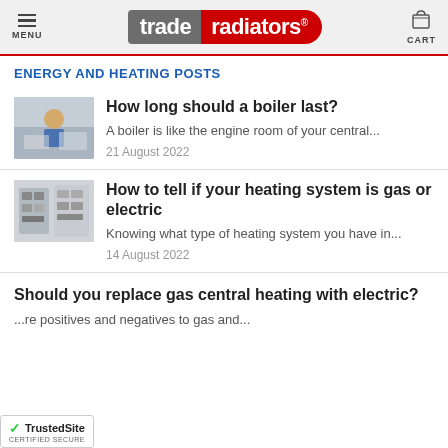trade radiators — MENU | CART
ENERGY AND HEATING POSTS
[Figure (photo): Photo of a person in a blue hard hat inspecting a boiler]
How long should a boiler last?
A boiler is like the engine room of your central...
21 August 2022
[Figure (photo): Photo of a heating system panel or electric meter]
How to tell if your heating system is gas or electric
Knowing what type of heating system you have in...
14 August 2022
Should you replace gas central heating with electric?
...re positives and negatives to gas and...